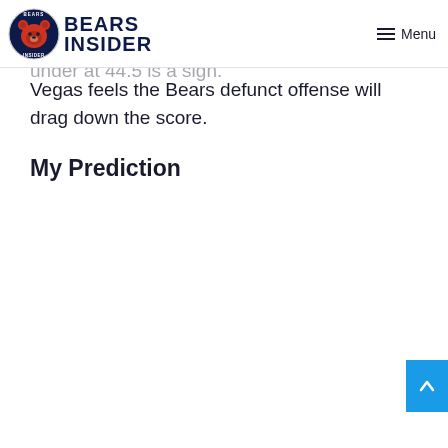BEARS INSIDER | Menu
Vegas feels the Bears defunct offense will drag down the score.
My Prediction